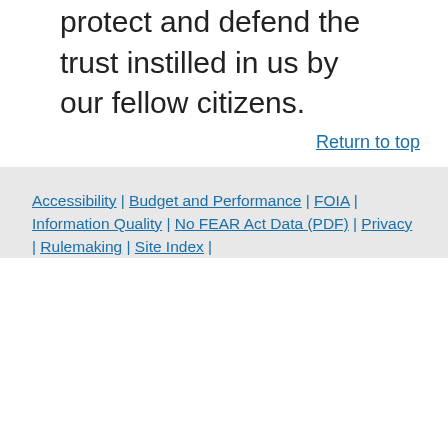government, and our commitment to protect and defend the trust instilled in us by our fellow citizens.
Return to top
Accessibility | Budget and Performance | FOIA | Information Quality | No FEAR Act Data (PDF) | Privacy | Rulemaking | Site Index |